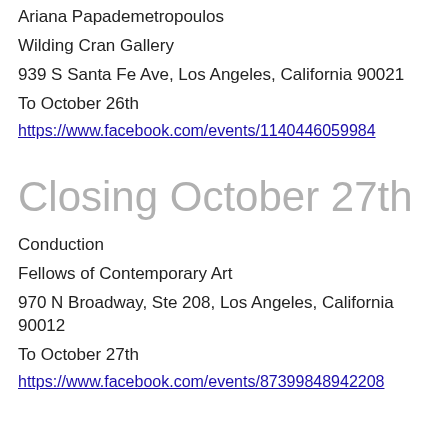Ariana Papademetropoulos
Wilding Cran Gallery
939 S Santa Fe Ave, Los Angeles, California 90021
To October 26th
https://www.facebook.com/events/1140446059984
Closing October 27th
Conduction
Fellows of Contemporary Art
970 N Broadway, Ste 208, Los Angeles, California 90012
To October 27th
https://www.facebook.com/events/87399848942008